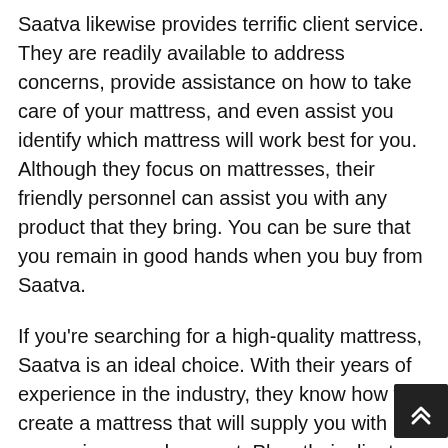Saatva likewise provides terrific client service. They are readily available to address concerns, provide assistance on how to take care of your mattress, and even assist you identify which mattress will work best for you. Although they focus on mattresses, their friendly personnel can assist you with any product that they bring. You can be sure that you remain in good hands when you buy from Saatva.
If you're searching for a high-quality mattress, Saatva is an ideal choice. With their years of experience in the industry, they know how to create a mattress that will supply you with convenience and support. Plus, their client service is superior, so you can be sure that you're getting the very best possible experience.
Give Saatva a try and see on your own how excellent their bed mattress are!